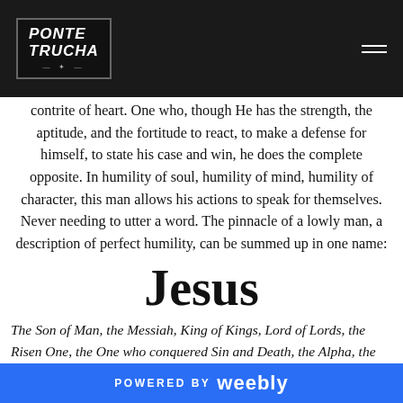PONTE TRUCHA — navigation header with logo and hamburger menu
contrite of heart. One who, though He has the strength, the aptitude, and the fortitude to react, to make a defense for himself, to state his case and win, he does the complete opposite. In humility of soul, humility of mind, humility of character, this man allows his actions to speak for themselves. Never needing to utter a word. The pinnacle of a lowly man, a description of perfect humility, can be summed up in one name:
Jesus
The Son of Man, the Messiah, King of Kings, Lord of Lords, the Risen One, the One who conquered Sin and Death, the Alpha, the Omega, the Son of God, the Lamb
POWERED BY weebly